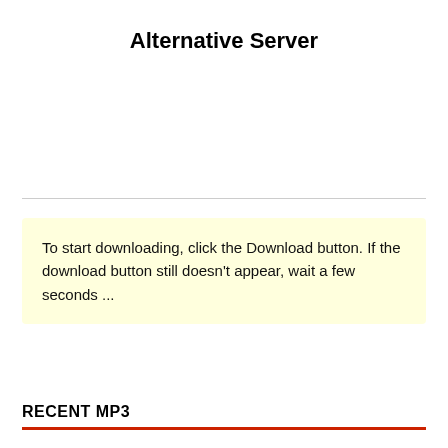Alternative Server
To start downloading, click the Download button. If the download button still doesn't appear, wait a few seconds ...
RECENT MP3